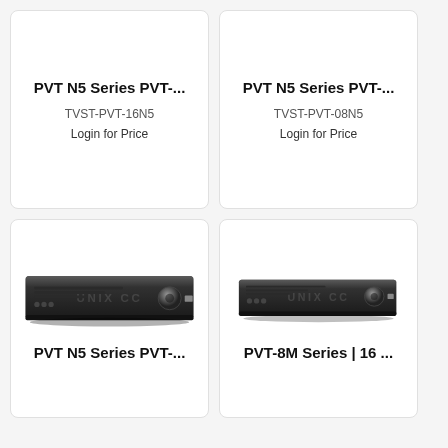[Figure (other): Product card: PVT N5 Series PVT-... top-left, no image visible, SKU TVST-PVT-16N5, Login for Price]
PVT N5 Series PVT-...
TVST-PVT-16N5
Login for Price
[Figure (other): Product card: PVT N5 Series PVT-... top-right, no image visible, SKU TVST-PVT-08N5, Login for Price]
PVT N5 Series PVT-...
TVST-PVT-08N5
Login for Price
[Figure (photo): Product card: PVT N5 Series PVT-... bottom-left, shows black DVR/NVR unit with Unix CC watermark]
PVT N5 Series PVT-...
[Figure (photo): Product card: PVT-8M Series | 16 ... bottom-right, shows black DVR/NVR unit with Unix CC watermark]
PVT-8M Series | 16 ...